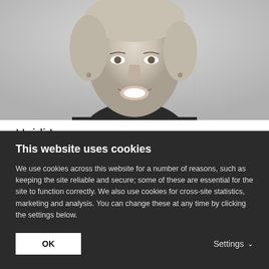[Figure (photo): Grayscale headshot portrait of Heidi Learner, a woman with short light hair, smiling, wearing a necklace and dark top, against a light gray background.]
Heidi Learner
Americas Head of Real Assets Research, CBRE Investment Management
Heidi Learner is the Americas Head of Real Assets
This website uses cookies
We use cookies across this website for a number of reasons, such as keeping the site reliable and secure; some of these are essential for the site to function correctly. We also use cookies for cross-site statistics, marketing and analysis. You can change these at any time by clicking the settings below.
OK
Settings